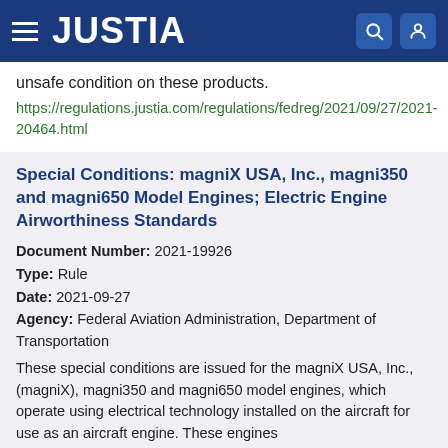JUSTIA
unsafe condition on these products.
https://regulations.justia.com/regulations/fedreg/2021/09/27/2021-20464.html
Special Conditions: magniX USA, Inc., magni350 and magni650 Model Engines; Electric Engine Airworthiness Standards
Document Number: 2021-19926
Type: Rule
Date: 2021-09-27
Agency: Federal Aviation Administration, Department of Transportation
These special conditions are issued for the magniX USA, Inc., (magniX), magni350 and magni650 model engines, which operate using electrical technology installed on the aircraft for use as an aircraft engine. These engines